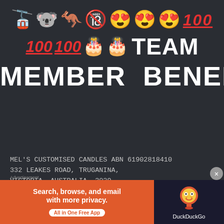[Figure (illustration): Row of emoji: tram/cable car, koala, kangaroo, no-under-18 sign, three heart-eyes smileys, and a red 100 italic text]
🎂🎂TEAM MEMBER BENEFITS.
MEL'S CUSTOMISED CANDLES ABN 61902818410
332 LEAKES ROAD, TRUGANINA,
VICTORIA, AUSTRALIA, 3029.
Perfectly Imperfect. © Mel's Customised
Candles Melbourne, Australia, 2022 As
[Figure (infographic): DuckDuckGo advertisement banner: orange left panel with 'Search, browse, and email with more privacy. All in One Free App', dark right panel with DuckDuckGo duck logo and name]